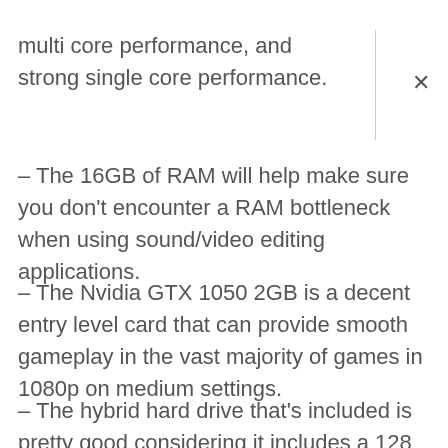multi core performance, and strong single core performance.
– The 16GB of RAM will help make sure you don't encounter a RAM bottleneck when using sound/video editing applications.
– The Nvidia GTX 1050 2GB is a decent entry level card that can provide smooth gameplay in the vast majority of games in 1080p on medium settings.
– The hybrid hard drive that's included is pretty good considering it includes a 128 GB SSD too!